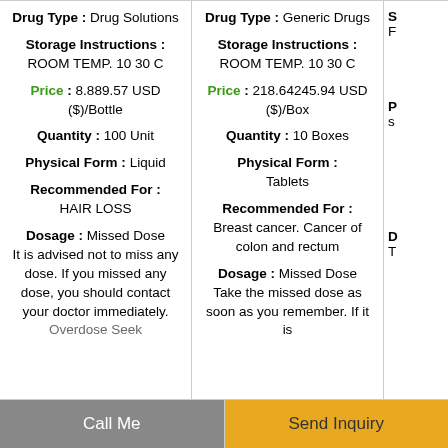Drug Type : Drug Solutions
Storage Instructions : ROOM TEMP. 10 30 C
Price : 8.889.57 USD ($)/Bottle
Quantity : 100 Unit
Physical Form : Liquid
Recommended For : HAIR LOSS
Dosage : Missed Dose It is advised not to miss any dose. If you missed any dose, you should contact your doctor immediately. Overdose Seek
Drug Type : Generic Drugs
Storage Instructions : ROOM TEMP. 10 30 C
Price : 218.64245.94 USD ($)/Box
Quantity : 10 Boxes
Physical Form : Tablets
Recommended For : Breast cancer. Cancer of colon and rectum
Dosage : Missed Dose Take the missed dose as soon as you remember. If it is
S F
P s
D T
Call Me | Send Inquiry